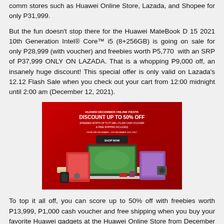comm stores such as Huawei Online Store, Lazada, and Shopee for only P31,999.
But the fun doesn't stop there for the Huawei MateBook D 15 2021 10th Generation Intel® Core™ i5 (8+256GB) is going on sale for only P28,999 (with voucher) and freebies worth P5,770 with an SRP of P37,999 ONLY ON LAZADA. That is a whopping P9,000 off, an insanely huge discount! This special offer is only valid on Lazada's 12.12 Flash Sale when you check out your cart from 12:00 midnight until 2:00 am (December 12, 2021).
[Figure (photo): Huawei December Online Fiesta promotional banner showing laptops, tablets, phones and accessories on a red background with text: HUAWEI DECEMBER ONLINE FIESTA DISCOUNT UP TO 50% OFF [FREEBIES WORTH UP TO P7,488 + P1,000 CASH VOUCHER & FREE SHIPPING INCLUDED] FROM 3RD DECEMBER - 5TH DECEMBER 2021 ONLY - SHOP NOW]
To top it all off, you can score up to 50% off with freebies worth P13,999, P1,000 cash voucher and free shipping when you buy your favorite Huawei gadgets at the Huawei Online Store from December 3 to December 5!
Here's the breakdown of HUAWEI's 12.12 Crazy Sale: